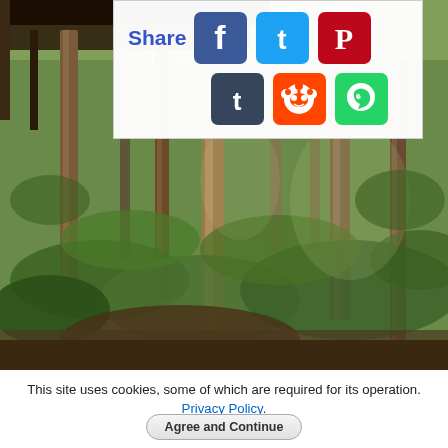[Figure (photo): Photograph of a forest path with tall tree trunks, lush green undergrowth including shrubs and ferns, dappled sunlight, and a wooden shelter structure visible on the left edge. A wooden post/pole is prominent in the center foreground.]
[Figure (infographic): Social share widget overlay on the photo showing Share label with social media icons: Facebook (blue), Twitter (blue), Pinterest (red), Tumblr (dark blue), Reddit (orange), WhatsApp (green)]
This site uses cookies, some of which are required for its operation. Privacy Policy.
Agree and Continue